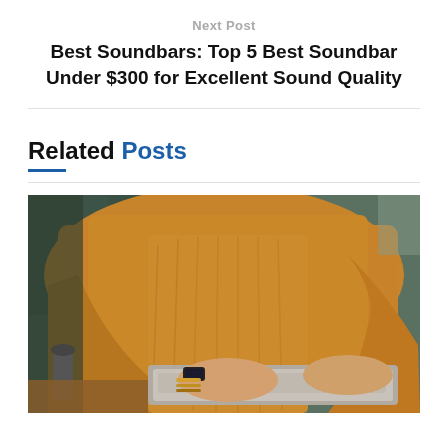Next Post
Best Soundbars: Top 5 Best Soundbar Under $300 for Excellent Sound Quality
Related Posts
[Figure (photo): Person wearing a mustard/golden yellow sweater working on a laptop at a wooden desk, close-up shot showing hands and torso, wearing bracelets and a watch]